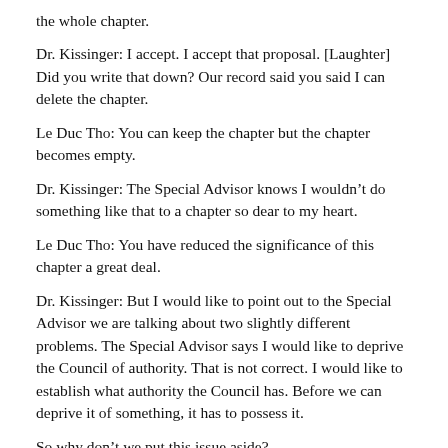the whole chapter.
Dr. Kissinger: I accept. I accept that proposal. [Laughter] Did you write that down? Our record said you said I can delete the chapter.
Le Duc Tho: You can keep the chapter but the chapter becomes empty.
Dr. Kissinger: The Special Advisor knows I wouldn't do something like that to a chapter so dear to my heart.
Le Duc Tho: You have reduced the significance of this chapter a great deal.
Dr. Kissinger: But I would like to point out to the Special Advisor we are talking about two slightly different problems. The Special Advisor says I would like to deprive the Council of authority. That is not correct. I would like to establish what authority the Council has. Before we can deprive it of something, it has to possess it.
So why don't we put this issue aside?
Le Duc Tho: Now Article 13.
Dr. Kissinger: Article 13. I thought we had that settled long ago.